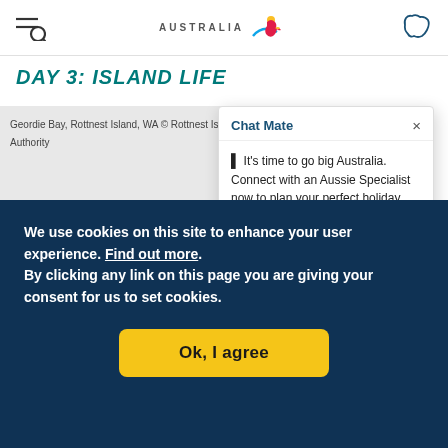Tourism Australia website header with menu icon, Australia logo, and map icon
DAY 3: ISLAND LIFE
[Figure (photo): Photo placeholder: Geordie Bay, Rottnest Island, WA © Rottnest Island Authority]
Chat Mate

It's time to go big Australia. Connect with an Aussie Specialist now to plan your perfect holiday
We use cookies on this site to enhance your user experience. Find out more.
By clicking any link on this page you are giving your consent for us to set cookies.
Ok, I agree